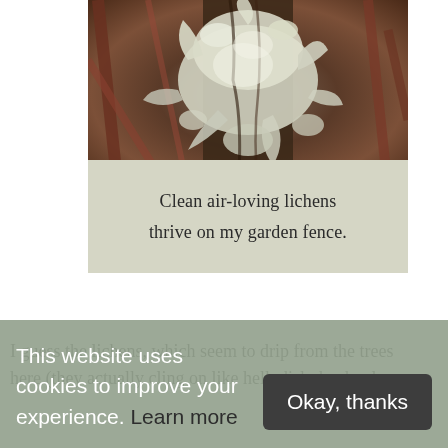[Figure (photo): Close-up photograph of lichen growing on tree bark or fence, showing white and grey foliose lichen against dark reddish-brown background]
Clean air-loving lichens thrive on my garden fence.
I guess the lichens, which seem to drip from the trees here (they actually cling on like hell, dislodged only
This website uses cookies to improve your experience. Learn more
Okay, thanks